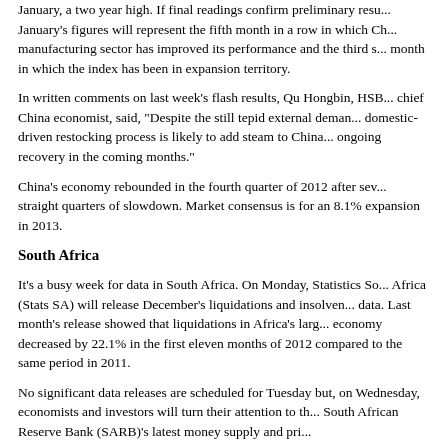January, a two year high. If final readings confirm preliminary results, January's figures will represent the fifth month in a row in which China's manufacturing sector has improved its performance and the third straight month in which the index has been in expansion territory.
In written comments on last week's flash results, Qu Hongbin, HSBC chief China economist, said, "Despite the still tepid external demand, a domestic-driven restocking process is likely to add steam to China's ongoing recovery in the coming months."
China's economy rebounded in the fourth quarter of 2012 after seven straight quarters of slowdown. Market consensus is for an 8.1% expansion in 2013.
South Africa
It's a busy week for data in South Africa. On Monday, Statistics South Africa (Stats SA) will release December's liquidations and insolvency data. Last month's release showed that liquidations in Africa's largest economy decreased by 22.1% in the first eleven months of 2012 compared to the same period in 2011.
No significant data releases are scheduled for Tuesday but, on Wednesday, economists and investors will turn their attention to the South African Reserve Bank (SARB)'s latest money supply and pri...